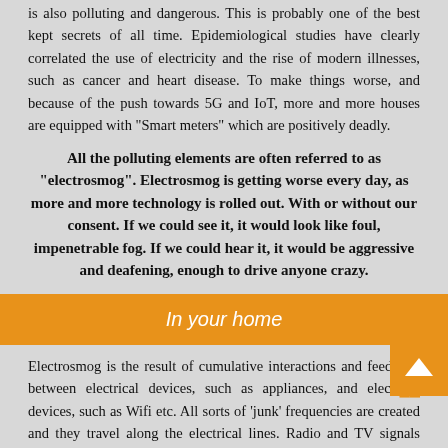is also polluting and dangerous. This is probably one of the best kept secrets of all time. Epidemiological studies have clearly correlated the use of electricity and the rise of modern illnesses, such as cancer and heart disease. To make things worse, and because of the push towards 5G and IoT, more and more houses are equipped with "Smart meters" which are positively deadly.
All the polluting elements are often referred to as "electrosmog". Electrosmog is getting worse every day, as more and more technology is rolled out. With or without our consent. If we could see it, it would look like foul, impenetrable fog. If we could hear it, it would be aggressive and deafening, enough to drive anyone crazy.
In your home
Electrosmog is the result of cumulative interactions and feedb... between electrical devices, such as appliances, and electr... devices, such as Wifi etc. All sorts of 'junk' frequencies are created and they travel along the electrical lines. Radio and TV signals tend to piggyback the electrical lines. Ground currents and geomagnetic